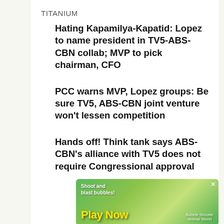TITANIUM
Hating Kapamilya-Kapatid: Lopez to name president in TV5-ABS-CBN collab; MVP to pick chairman, CFO
PCC warns MVP, Lopez groups: Be sure TV5, ABS-CBN joint venture won't lessen competition
Hands off! Think tank says ABS-CBN's alliance with TV5 does not require Congressional approval
[Figure (screenshot): Mobile game advertisement banner: green bubble-shooter game with 'Shoot and blast bubbles!', 'Play Now', and 'Bubble Shooter Animal World' text with cartoon bear character]